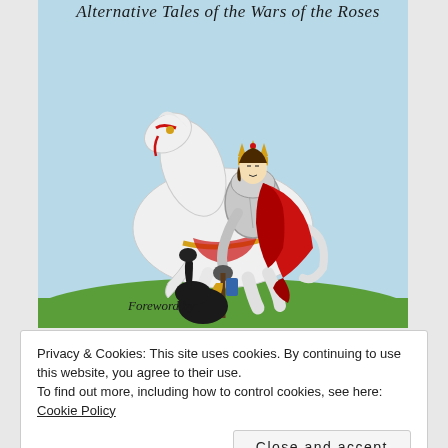[Figure (illustration): Book cover illustration showing a crowned knight in silver armor wearing a red cape, riding a white rearing horse on green ground, with a dark figure below. Script title at top reads 'Alternative Tales of the Wars of the Roses'. Text at bottom reads 'Foreword by'. Light blue sky background.]
Privacy & Cookies: This site uses cookies. By continuing to use this website, you agree to their use.
To find out more, including how to control cookies, see here: Cookie Policy
Close and accept